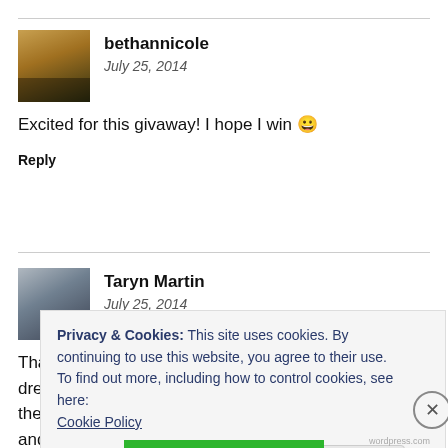[Figure (photo): Avatar photo of bethannicole — outdoor/architectural scene with warm golden tones]
bethannicole
July 25, 2014
Excited for this givaway! I hope I win 😀
Reply
[Figure (photo): Avatar photo of Taryn Martin — person wearing sunglasses]
Taryn Martin
July 25, 2014
Thanks for hosting such an incredible giveaway. My dream theme would have to use my favorite color mint green and
Privacy & Cookies: This site uses cookies. By continuing to use this website, you agree to their use.
To find out more, including how to control cookies, see here:
Cookie Policy
Close and accept